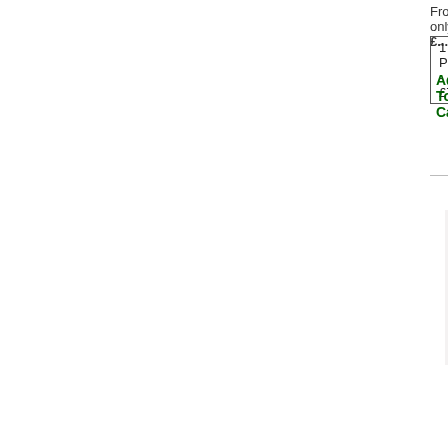From only £...
1 Pack - £7.66
Add To Cart
[Figure (photo): Box of Clomifene Tablets BP 25mg Fertomid-25 by Cipla with watermark 'Pharmacy Off [UK]']
See details
Clomiphene 25mg (10 T...
Clomiphene is a medication that helps ovulation for women struggling with their body not... This medication stimulate the body, similar in the way the natural hormone called estrogen, helps the egg develop so that they can meet the sperm or naturally or t...